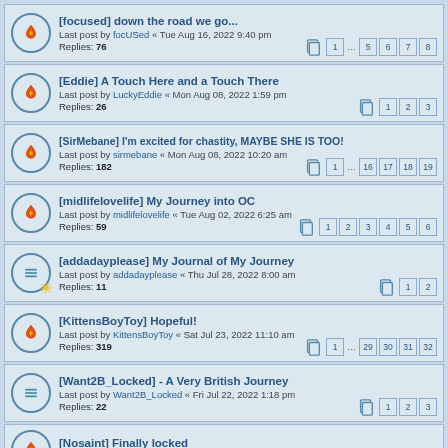[focused] down the road we go... | Last post by focUSed « Tue Aug 16, 2022 9:40 pm | Replies: 76 | Pages: 1 … 5 6 7 8
[Eddie] A Touch Here and a Touch There | Last post by LuckyEddie « Mon Aug 08, 2022 1:59 pm | Replies: 26 | Pages: 1 2 3
[SirMebane] I'm excited for chastity, MAYBE SHE IS TOO! | Last post by sirmebane « Mon Aug 08, 2022 10:20 am | Replies: 182 | Pages: 1 … 16 17 18 19
[midlifelovelife] My Journey into OC | Last post by midlifelovelife « Tue Aug 02, 2022 6:25 am | Replies: 59 | Pages: 1 2 3 4 5 6
[addadayplease] My Journal of My Journey | Last post by addadayplease « Thu Jul 28, 2022 8:00 am | Replies: 11 | Pages: 1 2
[KittensBoyToy] Hopeful! | Last post by KittensBoyToy « Sat Jul 23, 2022 11:10 am | Replies: 319 | Pages: 1 … 29 30 31 32
[Want2B_Locked] - A Very British Journey | Last post by Want2B_Locked « Fri Jul 22, 2022 1:18 pm | Replies: 22 | Pages: 1 2 3
[Nosaint] Finally locked | Last post by nosaint « Tue Jul 19, 2022 4:10 pm